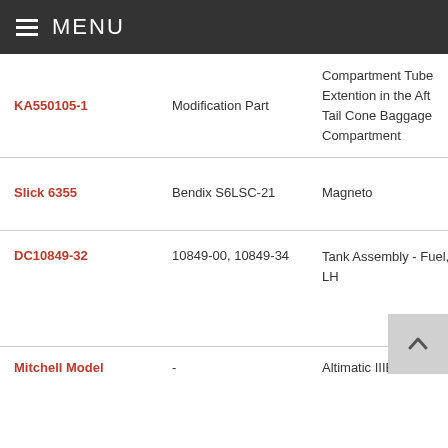MENU
| Part Number | Supersedes | Description | Aircraft |
| --- | --- | --- | --- |
| KA550105-1 | Modification Part | Compartment Tube Extention in the Aft Tail Cone Baggage Compartment | Cess S55... |
| Slick 6355 | Bendix S6LSC-21 | Magneto | Lyco A4B... |
| DC10849-32 | 10849-00, 10849-34 | Tank Assembly - Fuel, LH | Pipe 108, 22S-, PA-1 160,... |
| Mitchell Model | - | Altimatic IIIB-1 | Pipe... |